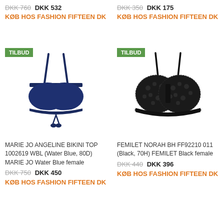DKK 760  DKK 532
DKK 350  DKK 175
KØB HOS FASHION FIFTEEN DK
KØB HOS FASHION FIFTEEN DK
[Figure (photo): Navy blue bikini top with white trim and tie front, TILBUD badge]
[Figure (photo): Black lace bra, TILBUD badge]
MARIE JO ANGELINE BIKINI TOP 1002619 WBL (Water Blue, 80D) MARIE JO Water Blue female
DKK 750  DKK 450
KØB HOS FASHION FIFTEEN DK
FEMILET NORAH BH FF92210 011 (Black, 70H) FEMILET Black female
DKK 440  DKK 396
KØB HOS FASHION FIFTEEN DK